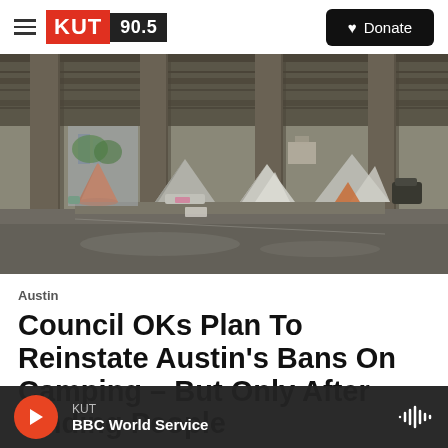KUT 90.5 | Donate
[Figure (photo): Homeless encampment with several tents pitched under a highway overpass. Concrete pillars visible, wet pavement, orange tent on left, grey tents in center and right.]
Austin
Council OKs Plan To Reinstate Austin's Bans On Camping – But Only After Finding People
KUT | BBC World Service